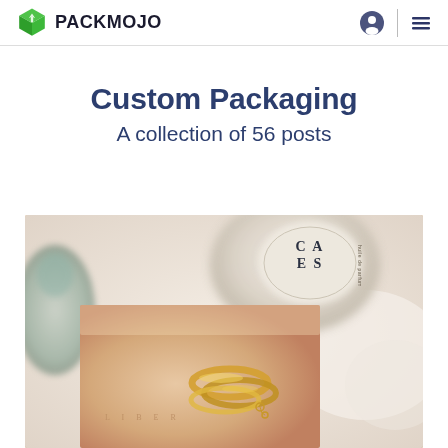PACKMOJO
Custom Packaging
A collection of 56 posts
[Figure (photo): Overhead photo of gold rings stacked on a peach/nude colored custom packaging box, with a Diptyque-style candle and perfume bottle blurred in the background on white fabric]